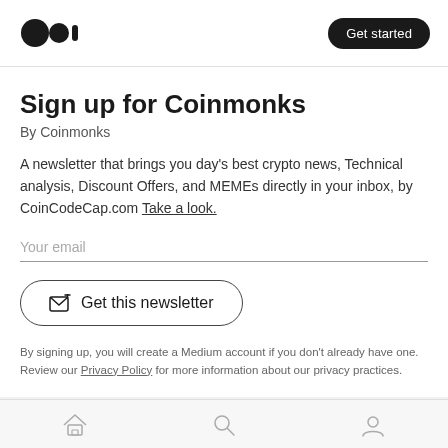Medium logo | Get started
Sign up for Coinmonks
By Coinmonks
A newsletter that brings you day's best crypto news, Technical analysis, Discount Offers, and MEMEs directly in your inbox, by CoinCodeCap.com Take a look.
Your email
Get this newsletter
By signing up, you will create a Medium account if you don't already have one. Review our Privacy Policy for more information about our privacy practices.
Home | Search | Profile